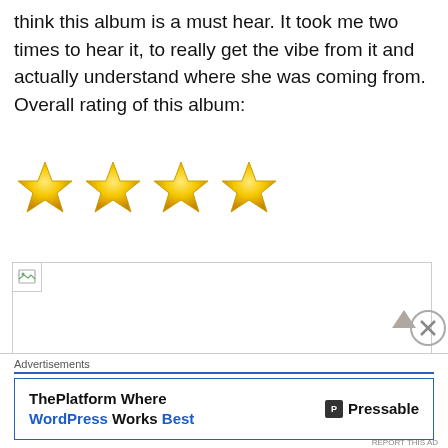think this album is a must hear. It took me two times to hear it, to really get the vibe from it and actually understand where she was coming from. Overall rating of this album:
[Figure (illustration): Four gold/yellow star icons representing a 4-star rating]
[Figure (photo): A broken/missing image placeholder with a small image icon in the top-left corner]
Advertisements
[Figure (screenshot): Advertisement banner for Pressable. Text reads: ThePlatform Where WordPress Works Best, with Pressable logo on the right.]